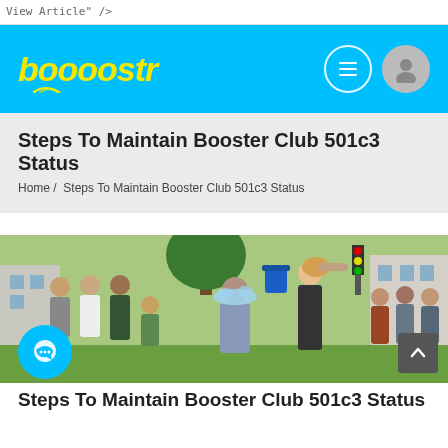View Article" />
boooostr navigation header with logo and icons
Steps To Maintain Booster Club 501c3 Status
Home /  Steps To Maintain Booster Club 501c3 Status
[Figure (photo): Outdoor group photo showing people doing ice bucket challenge, a woman pouring water over a man while others watch and cheer]
Steps To Maintain Booster Club 501c3 Status